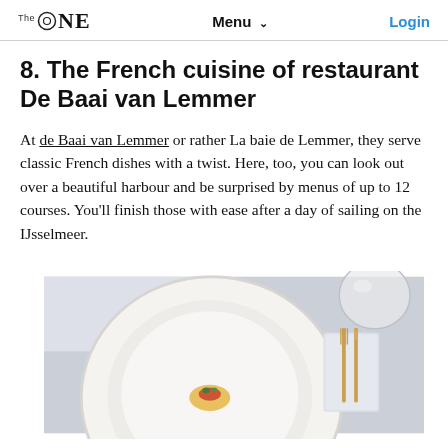The ONE  Menu  Login
8. The French cuisine of restaurant De Baai van Lemmer
At de Baai van Lemmer or rather La baie de Lemmer, they serve classic French dishes with a twist. Here, too, you can look out over a beautiful harbour and be surprised by menus of up to 12 courses. You'll finish those with ease after a day of sailing on the IJsselmeer.
[Figure (photo): Top-down view of a white restaurant plate with a small elegantly plated dish, gold/bronze cutlery (fork and knife) on the right, and a glass in the upper right corner, on a light blue-grey tablecloth.]